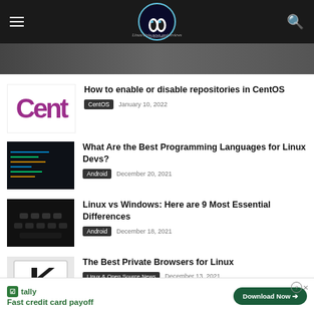Unixmen — Linux/Unix news and reviews
[Figure (screenshot): Hero image strip — partially visible]
How to enable or disable repositories in CentOS
CentOS   January 10, 2022
What Are the Best Programming Languages for Linux Devs?
Android   December 20, 2021
Linux vs Windows: Here are 9 Most Essential Differences
Android   December 18, 2021
The Best Private Browsers for Linux
Linux & Open Source News   December 13, 2021
Fast credit card payoff — Tally — Download Now